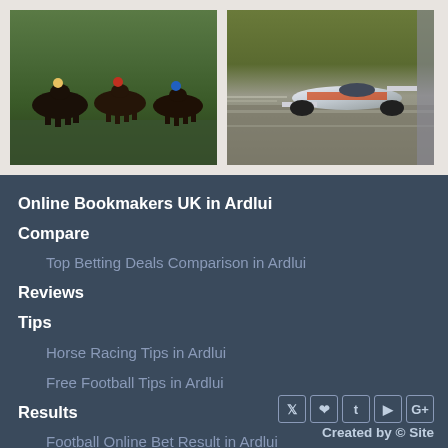[Figure (photo): Horse racing photo showing multiple dark horses running on green turf]
[Figure (photo): Formula racing car on track, white and orange car with motion blur]
Online Bookmakers UK in Ardlui
Compare
Top Betting Deals Comparison in Ardlui
Reviews
Tips
Horse Racing Tips in Ardlui
Free Football Tips in Ardlui
Results
Football Online Bet Result in Ardlui
Bets
First Goal Football Betting in Ardlui
Created by © Site